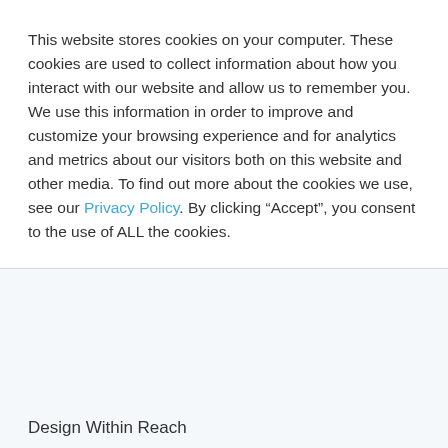This website stores cookies on your computer. These cookies are used to collect information about how you interact with our website and allow us to remember you. We use this information in order to improve and customize your browsing experience and for analytics and metrics about our visitors both on this website and other media. To find out more about the cookies we use, see our Privacy Policy. By clicking “Accept”, you consent to the use of ALL the cookies.
Cookie settings
ACCEPT
Design Within Reach